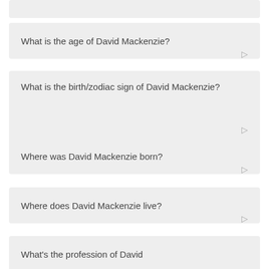What is the age of David Mackenzie?
What is the birth/zodiac sign of David Mackenzie?
Where was David Mackenzie born?
Where does David Mackenzie live?
What's the profession of David